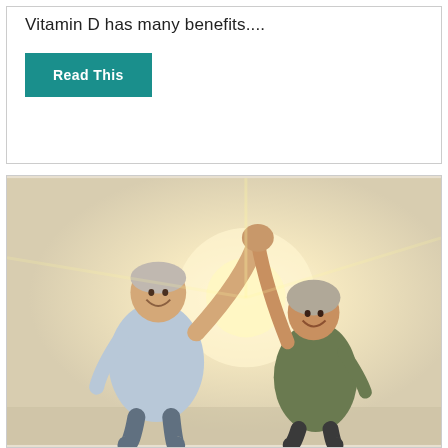Vitamin D has many benefits....
Read This
[Figure (photo): Two elderly people (a man and a woman) smiling and raising their joined hands in celebration outdoors, with bright sunlight behind them]